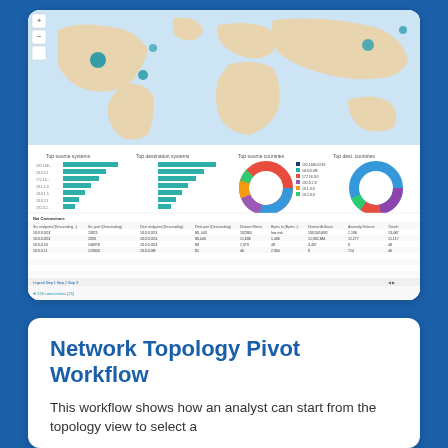[Figure (screenshot): A network topology dashboard screenshot showing a world map with network nodes, bar charts labeled 'Top source systems' and 'Top destination systems', donut charts labeled 'Top source countries' and 'Top destination countries', and a data table with connection details below.]
Network Topology Pivot Workflow
This workflow shows how an analyst can start from the topology view to select a